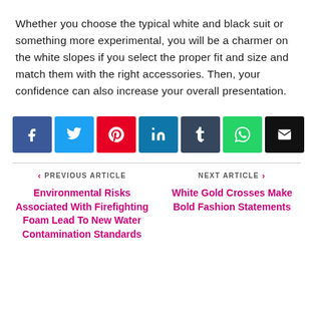Whether you choose the typical white and black suit or something more experimental, you will be a charmer on the white slopes if you select the proper fit and size and match them with the right accessories. Then, your confidence can also increase your overall presentation.
[Figure (infographic): Social sharing buttons: Facebook (blue), Twitter (light blue), Pinterest (red), LinkedIn (dark blue), Tumblr (dark slate), WhatsApp (green), Email (black)]
< PREVIOUS ARTICLE | Environmental Risks Associated With Firefighting Foam Lead To New Water Contamination Standards
NEXT ARTICLE > | White Gold Crosses Make Bold Fashion Statements